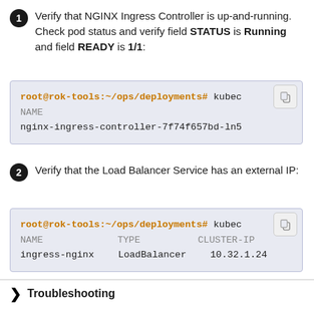Verify that NGINX Ingress Controller is up-and-running. Check pod status and verify field STATUS is Running and field READY is 1/1:
[Figure (screenshot): Terminal code block showing: root@rok-tools:~/ops/deployments# kubec / NAME / nginx-ingress-controller-7f74f657bd-ln5]
Verify that the Load Balancer Service has an external IP:
[Figure (screenshot): Terminal code block showing: root@rok-tools:~/ops/deployments# kubec / NAME   TYPE   CLUSTER-IP / ingress-nginx   LoadBalancer   10.32.1.24]
Troubleshooting